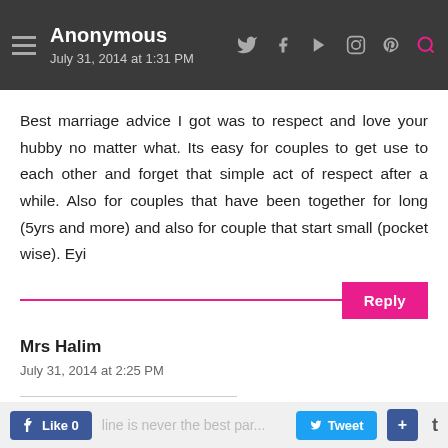Anonymous
July 31, 2014 at 1:31 PM
Best marriage advice I got was to respect and love your hubby no matter what. Its easy for couples to get use to each other and forget that simple act of respect after a while. Also for couples that have been together for long (5yrs and more) and also for couple that start small (pocket wise). Eyi
Mrs Halim
July 31, 2014 at 2:25 PM
Like 0   Tweet   +   t